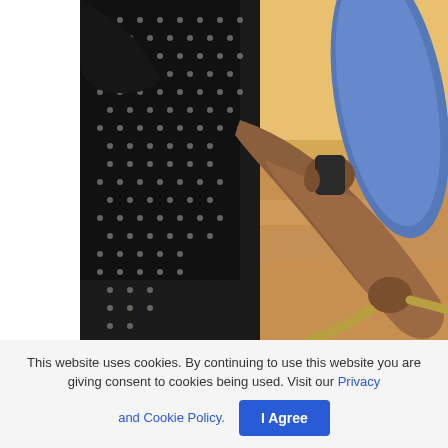[Figure (photo): Close-up photo of a person wearing a black polka-dot garment, with one hand holding a small device and the other hand gripping a curved hose or cable. The background has warm golden/orange tones with a blue surfboard-like object on the right.]
This website uses cookies. By continuing to use this website you are giving consent to cookies being used. Visit our Privacy and Cookie Policy.